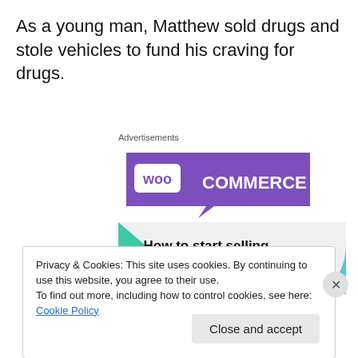As a young man, Matthew sold drugs and stole vehicles to fund his craving for drugs.
Advertisements
[Figure (illustration): WooCommerce advertisement banner showing the WooCommerce logo on a purple background with green and blue geometric shapes, and text reading 'How to start selling subscriptions online']
Privacy & Cookies: This site uses cookies. By continuing to use this website, you agree to their use.
To find out more, including how to control cookies, see here: Cookie Policy